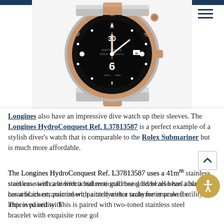[Figure (photo): Longines HydroConquest Ref. L37813587 dive watch with black ceramic bezel, rose gold accents on bezel and crown, two-toned stainless steel and rose gold bracelet, black dial showing '30' and '6' numerals and 'AUTOMATIC 300bar (300meters)' text. Watch is photographed from slightly above showing the case and bracelet links.]
Longines also have an impressive dive watch up their sleeves. The Longines HydroConquest Ref. L37813587 is a perfect example of a stylish diver's watch that is comparable to the Rolex Submariner but is much more affordable.
The Longines HydroConquest Ref. L37813587 uses a 41mm stainless steel case with a bidirectional rose gold bezel bezel also has a black ceramic insert, painted with a tachymeter scale for improved utility. This is paired with two-toned stainless steel bracelet with exquisite rose gold two-toned links. The dial of this Longines features a tachymeter...